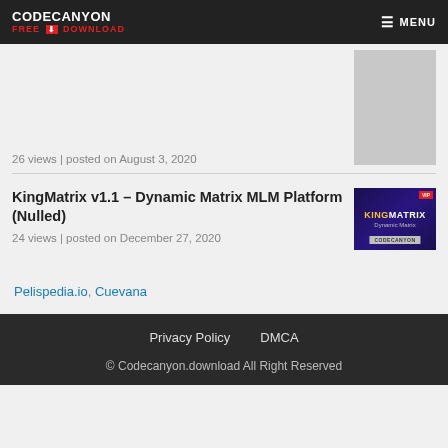CODECANYON FREE DOWNLOAD | MENU
26 views | posted on August 3, 2020
KingMatrix v1.1 – Dynamic Matrix MLM Platform (Nulled)
24 views | posted on December 27, 2020
Pelispedia.io, Cuevana
Privacy Policy   DMCA
© Codecanyon.download All Right Reserved